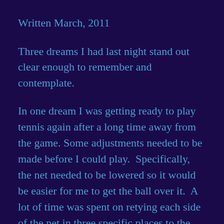Written March, 2011
Three dreams I had last night stand out clear enough to remember and contemplate.
In one dream I was getting ready to play tennis again after a long time away from the game. Some adjustments needed to be made before I could play.  Specifically, the net needed to be lowered so it would be easier for me to get the ball over it.  A lot of time was spent on retying each side of the net in three specific places to the poles that were holding the net up.  It was important to tie them in the right places just for me.  At one point I even had to use a sweater